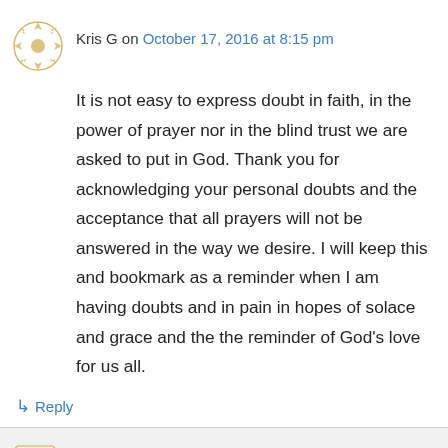Kris G on October 17, 2016 at 8:15 pm
It is not easy to express doubt in faith, in the power of prayer nor in the blind trust we are asked to put in God. Thank you for acknowledging your personal doubts and the acceptance that all prayers will not be answered in the way we desire. I will keep this and bookmark as a reminder when I am having doubts and in pain in hopes of solace and grace and the the reminder of God's love for us all.
↳ Reply
Jim Honig on October 18, 2016 at 9:38 pm
Thanks, Kris. I'm so grateful for the love